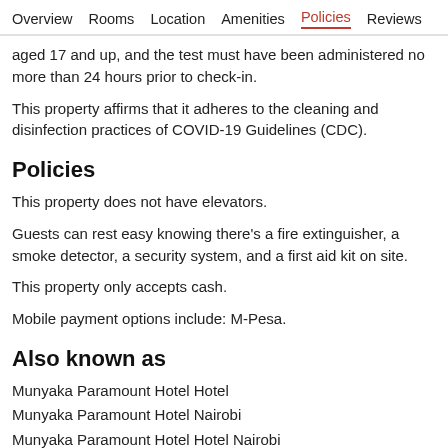Overview  Rooms  Location  Amenities  Policies  Reviews
aged 17 and up, and the test must have been administered no more than 24 hours prior to check-in.
This property affirms that it adheres to the cleaning and disinfection practices of COVID-19 Guidelines (CDC).
Policies
This property does not have elevators.
Guests can rest easy knowing there's a fire extinguisher, a smoke detector, a security system, and a first aid kit on site.
This property only accepts cash.
Mobile payment options include: M-Pesa.
Also known as
Munyaka Paramount Hotel Hotel
Munyaka Paramount Hotel Nairobi
Munyaka Paramount Hotel Hotel Nairobi